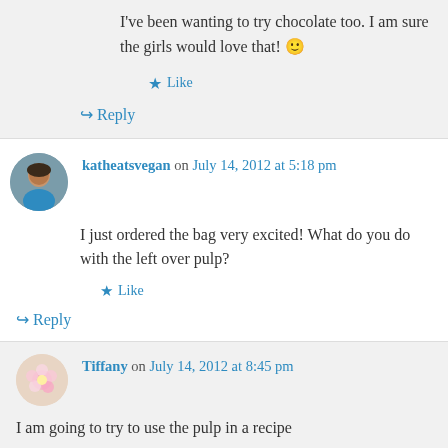I've been wanting to try chocolate too. I am sure the girls would love that! 🙂
Like
↳ Reply
katheatsvegan on July 14, 2012 at 5:18 pm
I just ordered the bag very excited! What do you do with the left over pulp?
Like
↳ Reply
Tiffany on July 14, 2012 at 8:45 pm
I am going to try to use the pulp in a recipe